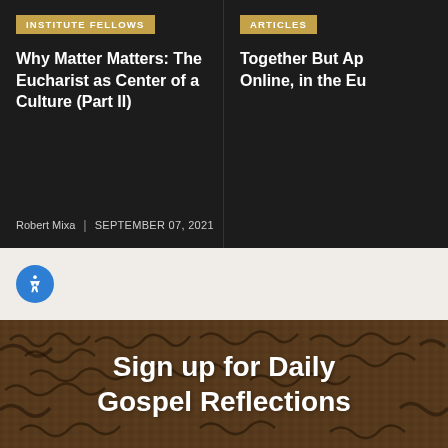INSTITUTE FELLOWS
Why Matter Matters: The Eucharist as Center of a Culture (Part II)
Robert Mixa | SEPTEMBER 07, 2021
ARTICLES
Together But Ap… Online, in the Eu…
Rachel Bulman | M…
[Figure (illustration): Blue circular accessibility icon button with person figure symbol]
Sign up for Daily Gospel Reflections
[Figure (photo): Ancient papyrus manuscript background with dark handwritten text marks]